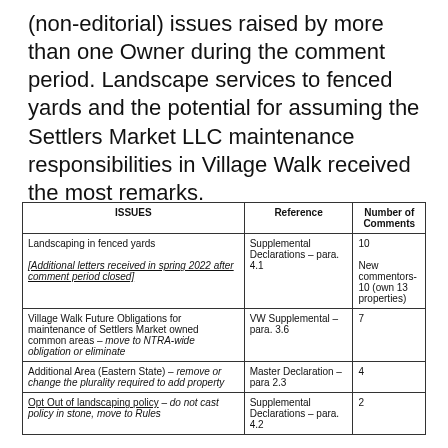(non-editorial) issues raised by more than one Owner during the comment period. Landscape services to fenced yards and the potential for assuming the Settlers Market LLC maintenance responsibilities in Village Walk received the most remarks.
| ISSUES | Reference | Number of Comments |
| --- | --- | --- |
| Landscaping in fenced yards
[Additional letters received in spring 2022 after comment period closed] | Supplemental Declarations – para. 4.1 | 10
New commentors-10 (own 13 properties) |
| Village Walk Future Obligations for maintenance of Settlers Market owned common areas – move to NTRA-wide obligation or eliminate | VW Supplemental – para. 3.6 | 7 |
| Additional Area (Eastern State) – remove or change the plurality required to add property | Master Declaration – para 2.3 | 4 |
| Opt Out of landscaping policy – do not cast policy in stone, move to Rules | Supplemental Declarations – para. 4.2 | 2 |